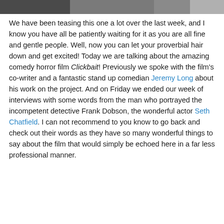[Figure (photo): Partial photograph of people at the top of the page, cropped]
We have been teasing this one a lot over the last week, and I know you have all be patiently waiting for it as you are all fine and gentle people. Well, now you can let your proverbial hair down and get excited! Today we are talking about the amazing comedy horror film Clickbait! Previously we spoke with the film's co-writer and a fantastic stand up comedian Jeremy Long about his work on the project. And on Friday we ended our week of interviews with some words from the man who portrayed the incompetent detective Frank Dobson, the wonderful actor Seth Chatfield. I can not recommend to you know to go back and check out their words as they have so many wonderful things to say about the film that would simply be echoed here in a far less professional manner.